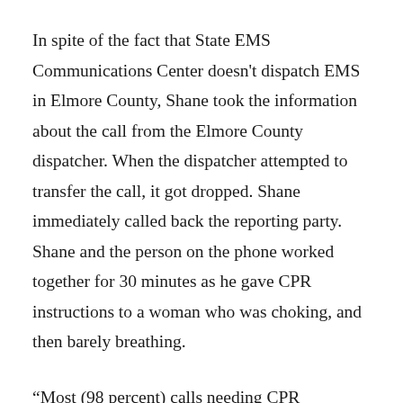In spite of the fact that State EMS Communications Center doesn't dispatch EMS in Elmore County, Shane took the information about the call from the Elmore County dispatcher. When the dispatcher attempted to transfer the call, it got dropped. Shane immediately called back the reporting party. Shane and the person on the phone worked together for 30 minutes as he gave CPR instructions to a woman who was choking, and then barely breathing.
“Most (98 percent) calls needing CPR instructions do not end with a patient breathing,” said Michele Carreras, manager of the Idaho State EMS Communications Center. “In this case, thank goodness,